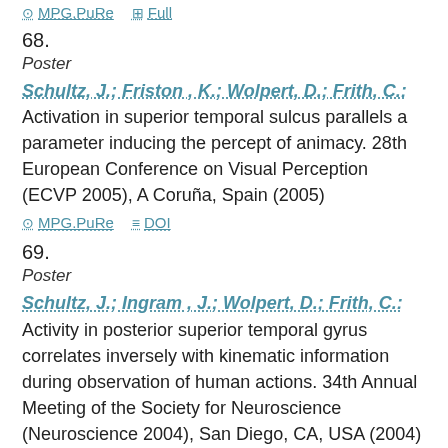MPG.PuRe  Full
68.
Poster
Schultz, J.; Friston , K.; Wolpert, D.; Frith, C.: Activation in superior temporal sulcus parallels a parameter inducing the percept of animacy. 28th European Conference on Visual Perception (ECVP 2005), A Coruña, Spain (2005)
MPG.PuRe  DOI
69.
Poster
Schultz, J.; Ingram , J.; Wolpert, D.; Frith, C.: Activity in posterior superior temporal gyrus correlates inversely with kinematic information during observation of human actions. 34th Annual Meeting of the Society for Neuroscience (Neuroscience 2004), San Diego, CA, USA (2004)